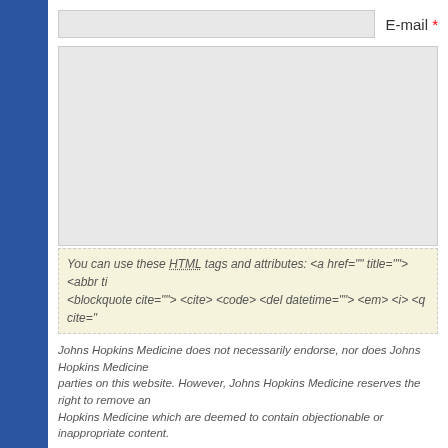E-mail *
You can use these HTML tags and attributes: <a href="" title=""> <abbr ti... <blockquote cite=""> <cite> <code> <del datetime=""> <em> <i> <q cite="...
Johns Hopkins Medicine does not necessarily endorse, nor does Johns Hopkins Medicine... parties on this website. However, Johns Hopkins Medicine reserves the right to remove an... Hopkins Medicine which are deemed to contain objectionable or inappropriate content.
Submit Comment
Select an image for your comment (GIF, PNG, JPG, JPEG):
Choose File  No file chosen